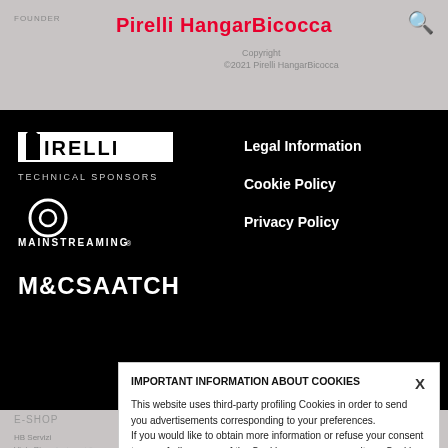Pirelli HangarBicocca
FOUNDER
Copyright
©2021 Pirelli HangarBicocca
[Figure (logo): Pirelli logo in white on black background]
TECHNICAL SPONSORS
[Figure (logo): Mainstreaming logo - circle icon with MAINSTREAMING text in white]
[Figure (logo): M&C Saatchi logo in white bold text]
Legal Information
Cookie Policy
Privacy Policy
E-SHOP
HB Servizi
Viale Pier...
Milan
Tax Code...
Registration no. 0702...
Terms & Conditions
IMPORTANT INFORMATION ABOUT COOKIES
This website uses third-party profiling Cookies in order to send you advertisements corresponding to your preferences.
If you would like to obtain more information or refuse your consent to use of all or some of the Cookies, you may consult our Cookie Policy.
By closing this banner or continuing to browse on our website and access any part of it, you consent to the use of Cookies.